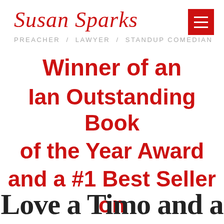Susan Sparks
PREACHER / LAWYER / STANDUP COMEDIAN
Winner of an Ian Outstanding Book of the Year Award and a #1 Best Seller on Amazon!
Love a Timo and a